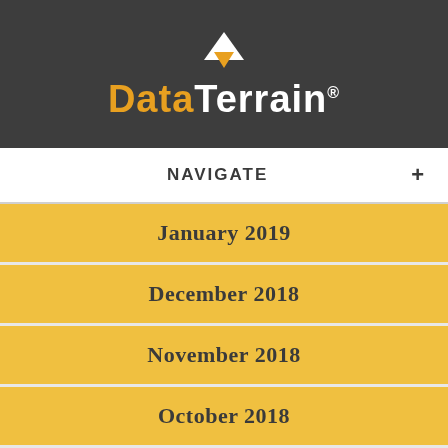[Figure (logo): DataTerrain logo with golden diamond/triangle icon above text. 'Data' in gold and 'Terrain' in white on dark gray background.]
NAVIGATE +
January 2019
December 2018
November 2018
October 2018
September 2018
August 2018